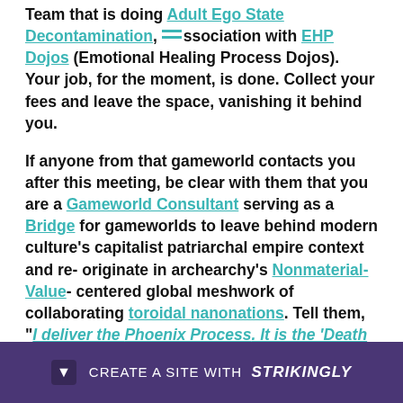Team that is doing Adult Ego State Decontamination, association with EHP Dojos (Emotional Healing Process Dojos). Your job, for the moment, is done. Collect your fees and leave the space, vanishing it behind you.
If anyone from that gameworld contacts you after this meeting, be clear with them that you are a Gameworld Consultant serving as a Bridge for gameworlds to leave behind modern culture's capitalist patriarchal empire context and re-originate in archearchy's Nonmaterial-Value-centered global meshwork of collaborating toroidal nanonations. Tell them, "I deliver the Phoenix Process. It is the 'Death And Resurrection Show'."
Then you... [text continues] ...g about.
[Figure (other): Strikingly website builder promotional bar at bottom of screen: purple background with dropdown arrow icon and text 'CREATE A SITE WITH strikingly']